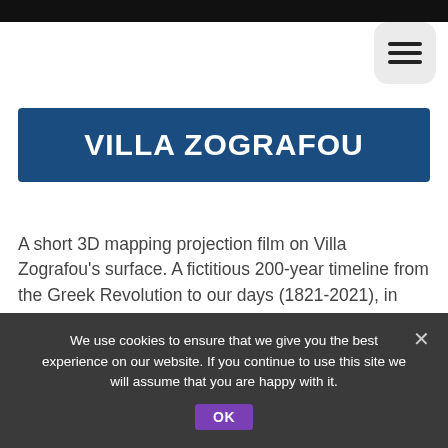[Figure (screenshot): Black top bar and hamburger menu button on white background]
VILLA ZOGRAFOU
A short 3D mapping projection film on Villa Zografou's surface. A fictitious 200-year timeline from the Greek Revolution to our days (1821-2021), in which historical landmarks, people and events are presented in 3D digital form, having defined Greek history over these years.
We use cookies to ensure that we give you the best experience on our website. If you continue to use this site we will assume that you are happy with it. OK